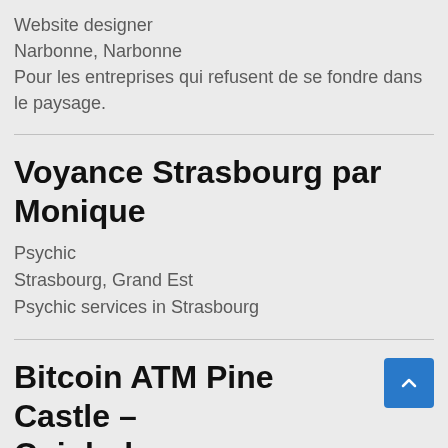Website designer
Narbonne, Narbonne
Pour les entreprises qui refusent de se fondre dans le paysage.
Voyance Strasbourg par Monique
Psychic
Strasbourg, Grand Est
Psychic services in Strasbourg
Bitcoin ATM Pine Castle – Coinhub